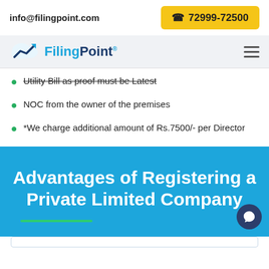info@filingpoint.com | 72999-72500
[Figure (logo): FilingPoint logo with cloud and chart icon]
Utility Bill as proof must be Latest
NOC from the owner of the premises
*We charge additional amount of Rs.7500/- per Director
Advantages of Registering a Private Limited Company